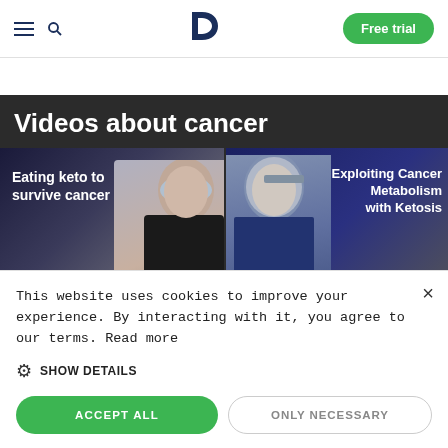Diet Doctor — navigation bar with hamburger menu, search icon, D logo, Free trial button
Videos about cancer
[Figure (screenshot): Video thumbnail 1: 'Eating keto to survive cancer' by Audra Wilford, Founder of the Max Love Project — dark blue background with woman in black top]
[Figure (screenshot): Video thumbnail 2: 'Exploiting Cancer Metabolism with Ketosis' by Dr. Angela Poff — dark blue background with blonde woman in blue top]
This website uses cookies to improve your experience. By interacting with it, you agree to our terms. Read more
SHOW DETAILS
ACCEPT ALL
ONLY NECESSARY